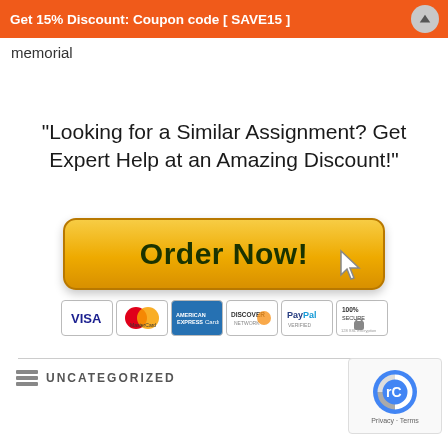Get 15% Discount: Coupon code [ SAVE15 ]
memorial
"Looking for a Similar Assignment? Get Expert Help at an Amazing Discount!"
[Figure (illustration): Orange Order Now button with cursor icon and payment method logos (VISA, MasterCard, American Express, Discover, PayPal, 100% Secure)]
UNCATEGORIZED
[Figure (illustration): reCAPTCHA widget with Google logo, Privacy and Terms links]